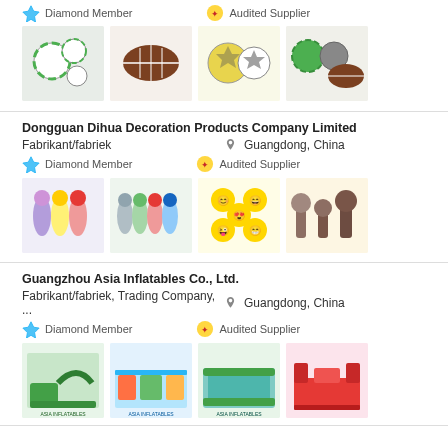[Figure (other): Product images: foam soccer/sport balls set, brown rugby ball, yellow/green soccer balls pair, green/brown sports balls group]
Dongguan Dihua Decoration Products Company Limited
Fabrikant/fabriek
Guangdong, China
Diamond Member
Audited Supplier
[Figure (other): Product images: cartoon vegetable mascot costumes, colorful cartoon figures, smiley face emoji badges, brown fantasy character figurines]
Guangzhou Asia Inflatables Co., Ltd.
Fabrikant/fabriek, Trading Company, ...
Guangdong, China
Diamond Member
Audited Supplier
[Figure (other): Product images: green inflatable water slide, colorful inflatable playground, large inflatable pool arena, red inflatable castle structure]